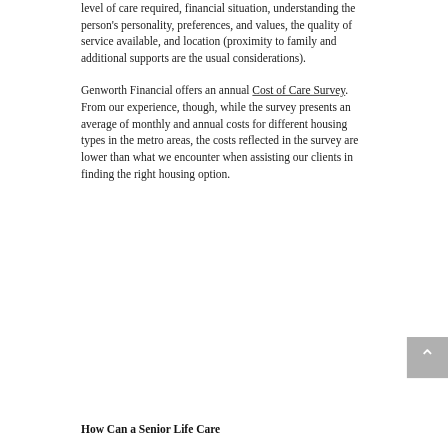level of care required, financial situation, understanding the person's personality, preferences, and values, the quality of service available, and location (proximity to family and additional supports are the usual considerations).
Genworth Financial offers an annual Cost of Care Survey. From our experience, though, while the survey presents an average of monthly and annual costs for different housing types in the metro areas, the costs reflected in the survey are lower than what we encounter when assisting our clients in finding the right housing option.
How Can a Senior Life Care